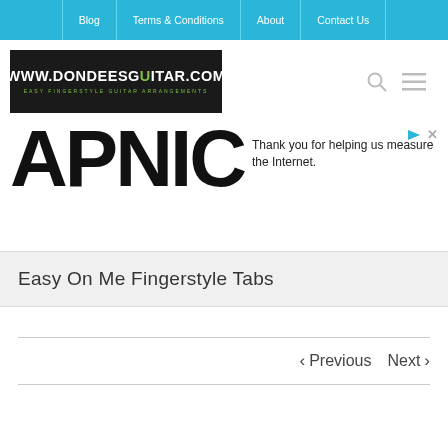Blog | Terms & Conditions | About | Contact Us
[Figure (logo): www.dondeesguitar.com logo — black background with white bold text and green guitar icon, subtitle: EASY FINGERSTYLE GUITAR ARRANGEMENTS]
[Figure (infographic): APNIC logo/ad with text: Thank you for helping us measure the Internet.]
Easy On Me Fingerstyle Tabs
< Previous   Next >